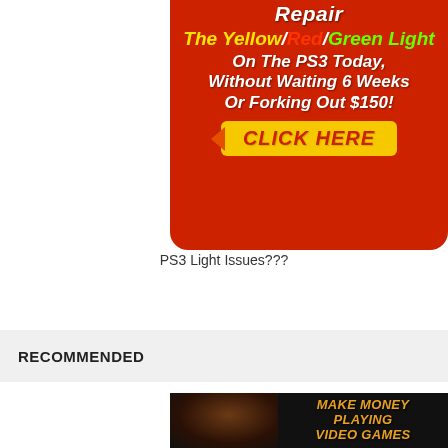[Figure (infographic): Red advertisement banner for PS3 repair guide. Text reads: Repair The Yellow/Red/Green Light On The PS3 Today, Without Waiting 6 Weeks Or Forking Out $150! CLICK HERE]
PS3 Light Issues???
RECOMMENDED
[Figure (infographic): Advertisement image with a man's face on the left and text reading MAKE MONEY PLAYING VIDEO GAMES on a dark background]